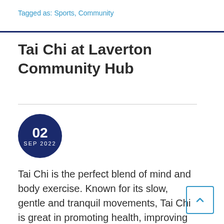Tagged as: Sports, Community
Tai Chi at Laverton Community Hub
02 SEP 2022
Tai Chi is the perfect blend of mind and body exercise. Known for its slow, gentle and tranquil movements, Tai Chi is great in promoting health, improving concentration, mental